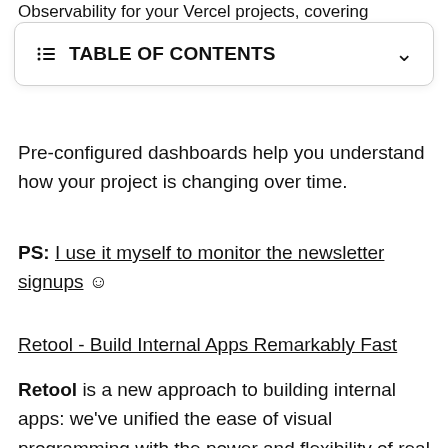Observability for your Vercel projects, covering
TABLE OF CONTENTS
Pre-configured dashboards help you understand how your project is changing over time.
PS: I use it myself to monitor the newsletter signups ☺
Retool - Build Internal Apps Remarkably Fast
Retool is a new approach to building internal apps: we've unified the ease of visual programming with the power and flexibility of real